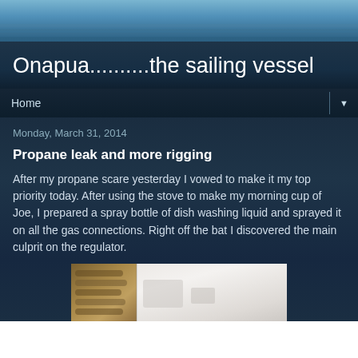[Figure (photo): Ocean/water background image at top of page, showing blue sea water]
Onapua..........the sailing vessel
Home
Monday, March 31, 2014
Propane leak and more rigging
After my propane scare yesterday I vowed to make it my top priority today. After using the stove to make my morning cup of Joe, I prepared a spray bottle of dish washing liquid and sprayed it on all the gas connections. Right off the bat I discovered the main culprit on the regulator.
[Figure (photo): Close-up photo of a propane regulator connection on a boat, showing metal fittings and a white surface]